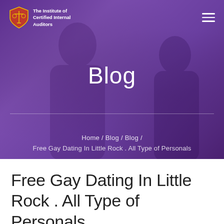[Figure (screenshot): Website hero banner with purple/violet overlay showing two people in background. Institute of Certified Internal Auditors logo top left, hamburger menu top right.]
Blog
Home / Blog / Blog /
Free Gay Dating In Little Rock . All Type of Personals
Free Gay Dating In Little Rock . All Type of Personals
Categories
Comments